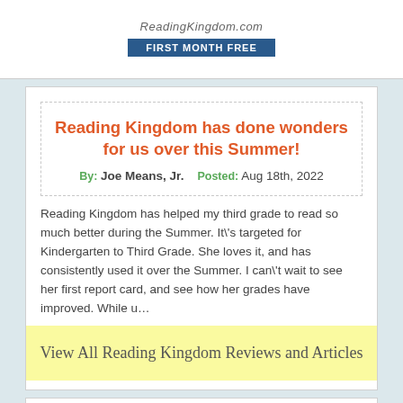[Figure (logo): ReadingKingdom.com logo with 'FIRST MONTH FREE' banner]
Reading Kingdom has done wonders for us over this Summer!
By: Joe Means, Jr.   Posted: Aug 18th, 2022
Reading Kingdom has helped my third grade to read so much better during the Summer.  It\'s targeted for Kindergarten to Third Grade.  She loves it, and has consistently used it over the Summer.  I can\'t wait to see her first report card, and see how her grades have improved. While u…
View All Reading Kingdom Reviews and Articles
[Figure (photo): Photo of people at bottom of page, partially visible]